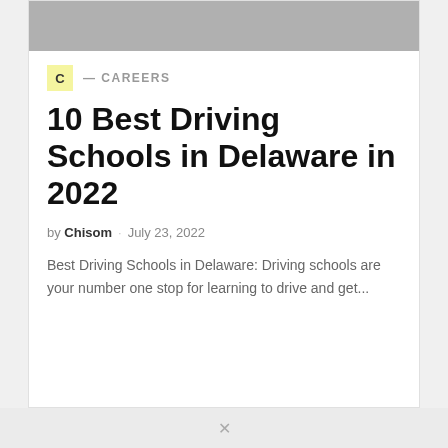[Figure (photo): Gray image placeholder banner at top of article card]
C — CAREERS
10 Best Driving Schools in Delaware in 2022
by Chisom · July 23, 2022
Best Driving Schools in Delaware: Driving schools are your number one stop for learning to drive and get...